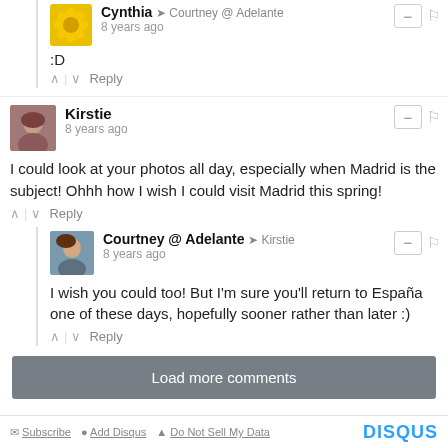Cynthia → Courtney @ Adelante
8 years ago
:D
Kirstie
8 years ago
I could look at your photos all day, especially when Madrid is the subject! Ohhh how I wish I could visit Madrid this spring!
Courtney @ Adelante → Kirstie
8 years ago
I wish you could too! But I'm sure you'll return to España one of these days, hopefully sooner rather than later :)
Load more comments
Subscribe   Add Disqus   Do Not Sell My Data   DISQUS